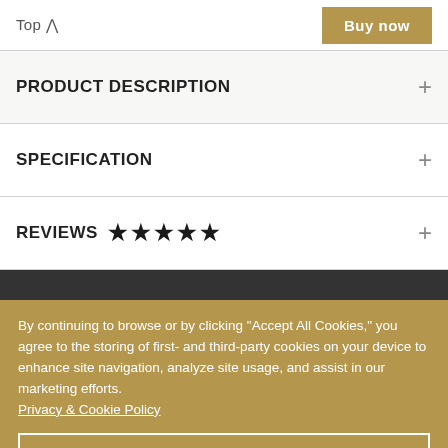Top ^
PRODUCT DESCRIPTION +
SPECIFICATION +
REVIEWS ★★★★★ +
By continuing to browse or by clicking "Accept All Cookies," you agree to the storing of first- and third-party cookies on your device to enhance site navigation, analyze site usage, and assist in our marketing efforts. Privacy & Cookie Policy
Accept All Cookies